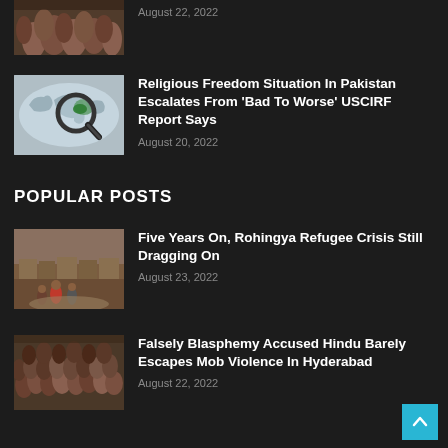[Figure (photo): Crowd of people, partially visible at top]
August 22, 2022
[Figure (photo): Map with magnifying glass highlighting Pakistan]
Religious Freedom Situation In Pakistan Escalates From 'Bad To Worse' USCIRF Report Says
August 20, 2022
POPULAR POSTS
[Figure (photo): Rohingya refugees walking through a camp]
Five Years On, Rohingya Refugee Crisis Still Dragging On
August 23, 2022
[Figure (photo): Large crowd of people gathered together]
Falsely Blasphemy Accused Hindu Barely Escapes Mob Violence In Hyderabad
August 22, 2022